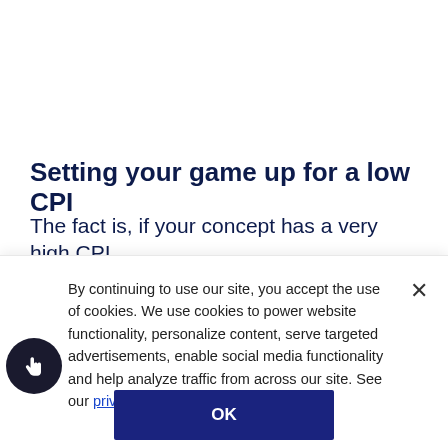Setting your game up for a low CPI
The fact is, if your concept has a very high CPI
By continuing to use our site, you accept the use of cookies. We use cookies to power website functionality, personalize content, serve targeted advertisements, enable social media functionality and help analyze traffic from across our site. See our privacy policy.
OK